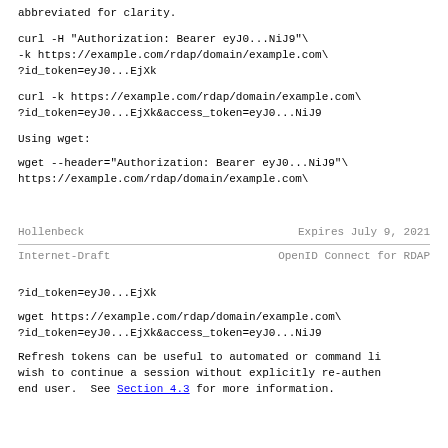abbreviated for clarity.
curl -H "Authorization: Bearer eyJ0...NiJ9"\
-k https://example.com/rdap/domain/example.com\
?id_token=eyJ0...EjXk
curl -k https://example.com/rdap/domain/example.com\
?id_token=eyJ0...EjXk&access_token=eyJ0...NiJ9
Using wget:
wget --header="Authorization: Bearer eyJ0...NiJ9"\
https://example.com/rdap/domain/example.com\
Hollenbeck                    Expires July 9, 2021
Internet-Draft              OpenID Connect for RDAP
?id_token=eyJ0...EjXk
wget https://example.com/rdap/domain/example.com\
?id_token=eyJ0...EjXk&access_token=eyJ0...NiJ9
Refresh tokens can be useful to automated or command li wish to continue a session without explicitly re-authen end user.  See Section 4.3 for more information.